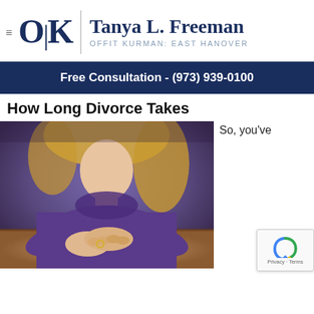[Figure (logo): Offit Kurman OK logo with hamburger menu, vertical divider, and attorney name Tanya L. Freeman, Offit Kurman: East Hanover]
Free Consultation - (973) 939-0100
How Long Divorce Takes
[Figure (photo): Photo of a woman with blonde hair wearing a purple sweater, hands clasped on a table with a wedding ring visible, suggesting divorce context]
So, you've